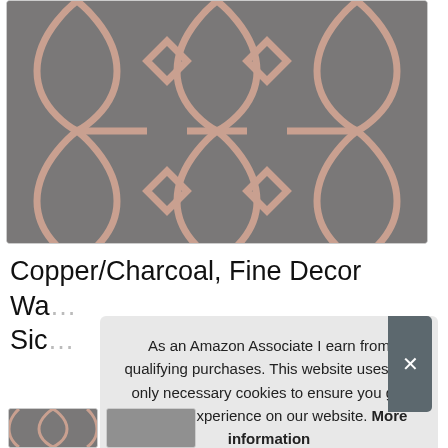[Figure (photo): Close-up photo of a geometric trellis/ogee patterned fabric in charcoal grey with copper/rose gold metallic lattice lines]
Copper/Charcoal, Fine Decor Wa… Sic…
As an Amazon Associate I earn from qualifying purchases. This website uses the only necessary cookies to ensure you get the best experience on our website. More information
[Figure (photo): Small thumbnail images of the product in different views]